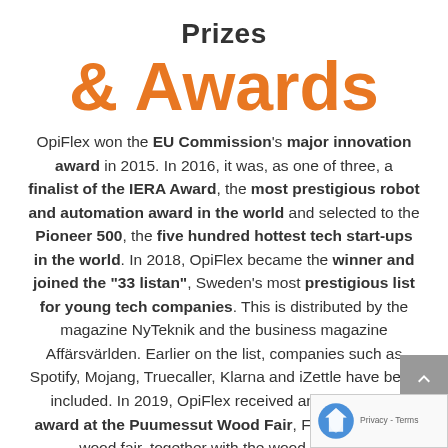Prizes
& Awards
OpiFlex won the EU Commission's major innovation award in 2015. In 2016, it was, as one of three, a finalist of the IERA Award, the most prestigious robot and automation award in the world and selected to the Pioneer 500, the five hundred hottest tech start-ups in the world. In 2018, OpiFlex became the winner and joined the "33 listan", Sweden's most prestigious list for young tech companies. This is distributed by the magazine NyTeknik and the business magazine Affärsvärlden. Earlier on the list, companies such as Spotify, Mojang, Truecaller, Klarna and iZettle have been included. In 2019, OpiFlex received an innovation award at the Puumessut Wood Fair, Finland's largest wood fair, together with the wood machine